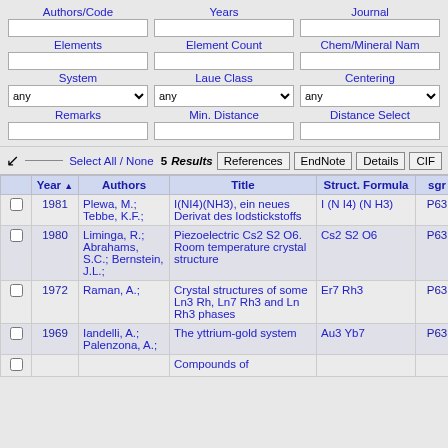[Figure (screenshot): Database search interface with form fields for Authors/Code, Years, Journal, Elements, Element Count, Chem/Mineral Name, System, Laue Class, Centering, Remarks, Min. Distance, Distance Select]
|  | Year | Authors | Title | Struct. Formula | sgr | Mineral |
| --- | --- | --- | --- | --- | --- | --- |
| ☐ | 1981 | Plewa, M.; Tebbe, K.F.; | I(NI4)(NH3), ein neues Derivat des Iodstickstoffs | I (N I4) (N H3) | P63 |  |
| ☐ | 1980 | Liminga, R.; Abrahams, S.C.; Bernstein, J.L.; | Piezoelectric Cs2 S2 O6. Room temperature crystal structure | Cs2 S2 O6 | P63 |  |
| ☐ | 1972 | Raman, A.; | Crystal structures of some Ln3 Rh, Ln7 Rh3 and Ln Rh3 phases | Er7 Rh3 | P63 |  |
| ☐ | 1969 | Iandelli, A.; Palenzona, A.; | The yttrium-gold system | Au3 Yb7 | P63 |  |
| ☐ |  |  | Compounds of |  |  |  |